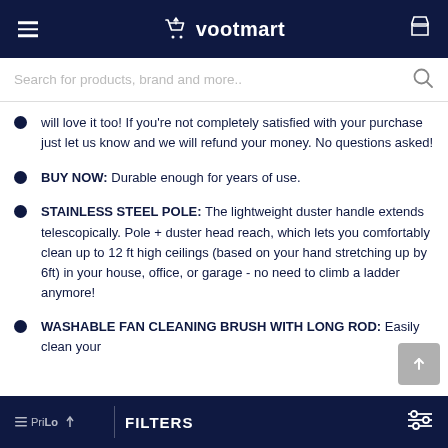vootmart
Search for products, brand and more..
will love it too! If you're not completely satisfied with your purchase just let us know and we will refund your money. No questions asked!
BUY NOW: Durable enough for years of use.
STAINLESS STEEL POLE: The lightweight duster handle extends telescopically. Pole + duster head reach, which lets you comfortably clean up to 12 ft high ceilings (based on your hand stretching up by 6ft) in your house, office, or garage - no need to climb a ladder anymore!
WASHABLE FAN CLEANING BRUSH WITH LONG ROD: Easily clean your
FILTERS